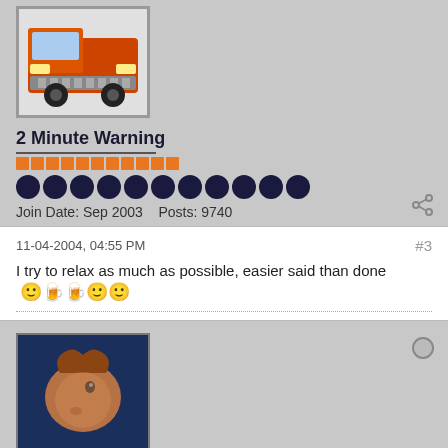[Figure (photo): Avatar image of a red/orange truck with a white background, partially cropped at top]
2 Minute Warning
Join Date: Sep 2003   Posts: 9740
11-04-2004, 04:55 PM   #3
I try to relax as much as possible, easier said than done
[Figure (photo): Denver Broncos logo (white horse on dark navy background)]
Lynch Bailey247
Banned User
Join Date: Oct 2004   Posts: 686